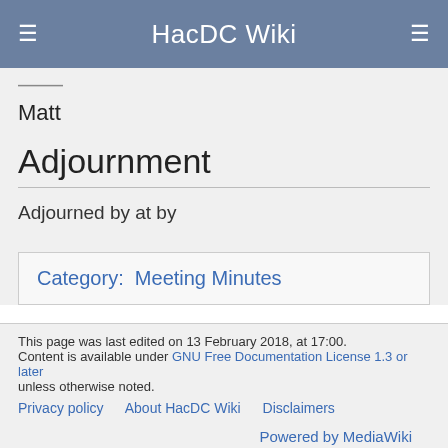HacDC Wiki
Matt
Adjournment
Adjourned by at by
Category:  Meeting Minutes
This page was last edited on 13 February 2018, at 17:00. Content is available under GNU Free Documentation License 1.3 or later unless otherwise noted. Privacy policy  About HacDC Wiki  Disclaimers  Powered by MediaWiki